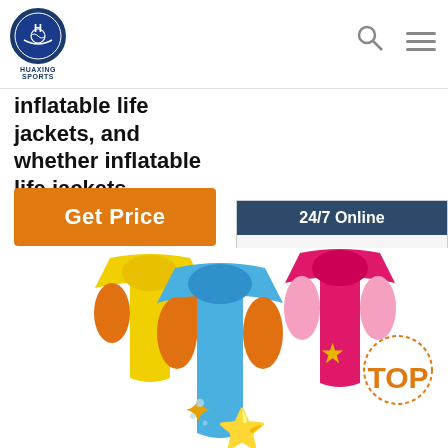HUAXING SPORTS
inflatable life jackets, and whether inflatable life jackets ...
[Figure (infographic): Orange 'Get Price' button]
[Figure (infographic): 24/7 Online chat widget with customer service representative photo, 'Click here for free chat!' text, and orange QUOTATION button]
[Figure (photo): Colorful children's swim vests/life jackets in yellow, blue, orange, pink colors with starfish decorations; orange TOP button overlay in bottom right]